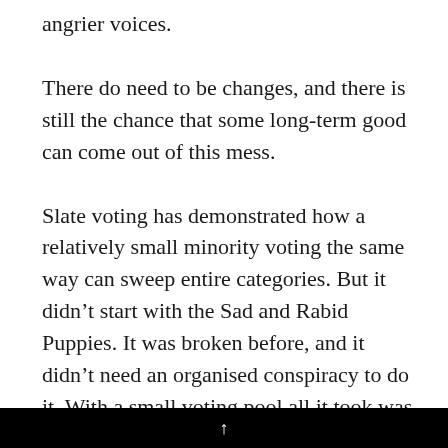angrier voices.
There do need to be changes, and there is still the chance that some long-term good can come out of this mess.
Slate voting has demonstrated how a relatively small minority voting the same way can sweep entire categories. But it didn’t start with the Sad and Rabid Puppies. It was broken before, and it didn’t need an organised conspiracy to do it. With a small voting pool all it took was a critical mass of people with heavily-overlapping tastes to
↑